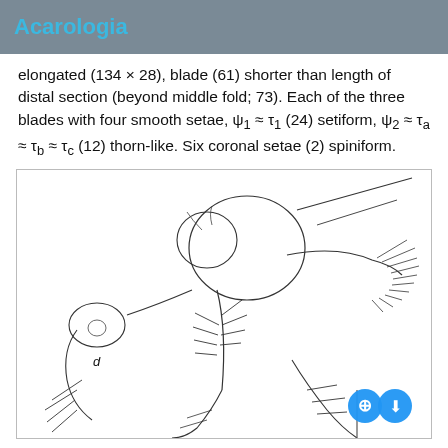Acarologia
elongated (134 × 28), blade (61) shorter than length of distal section (beyond middle fold; 73). Each of the three blades with four smooth setae, ψ₁ ≈ τ₁ (24) setiform, ψ₂ ≈ τa ≈ τb ≈ τc (12) thorn-like. Six coronal setae (2) spiniform.
[Figure (illustration): Scientific illustration of an acarology specimen (mite), showing detailed morphological structures including body segments, setae, and appendages. Panel labeled 'd' is visible at lower left. Line drawing style with black ink on white background.]